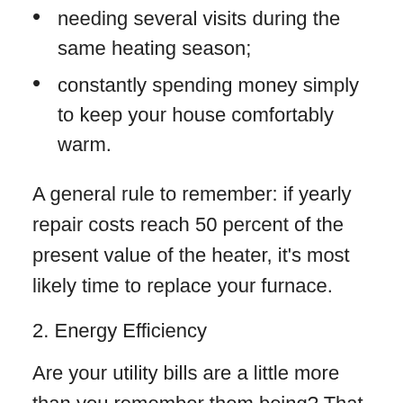needing several visits during the same heating season;
constantly spending money simply to keep your house comfortably warm.
A general rule to remember: if yearly repair costs reach 50 percent of the present value of the heater, it's most likely time to replace your furnace.
2. Energy Efficiency
Are your utility bills are a little more than you remember them being? That may be a sign that some part of your HVAC system is weakening. Most companies can deliver a residential energy